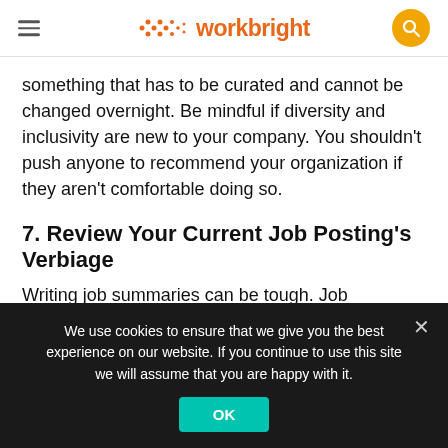workbright
something that has to be curated and cannot be changed overnight. Be mindful if diversity and inclusivity are new to your company. You shouldn't push anyone to recommend your organization if they aren't comfortable doing so.
7. Review Your Current Job Posting's Verbiage
Writing job summaries can be tough. Job descriptions can often be the first piece of communication that someone has with your company. You want to make a great first impression on potential employees. Your goal when writing
We use cookies to ensure that we give you the best experience on our website. If you continue to use this site we will assume that you are happy with it.